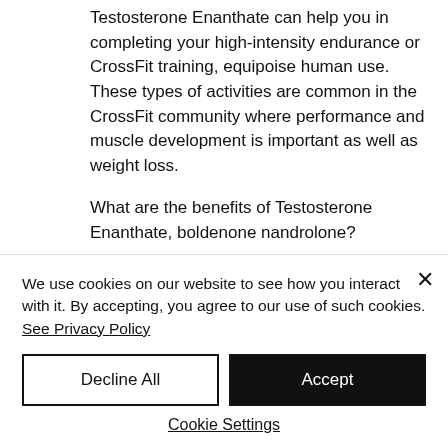Testosterone Enanthate can help you in completing your high-intensity endurance or CrossFit training, equipoise human use. These types of activities are common in the CrossFit community where performance and muscle development is important as well as weight loss.
What are the benefits of Testosterone Enanthate, boldenone nandrolone?
Testosterone Enanthate can help your muscles build and strength and helps your
We use cookies on our website to see how you interact with it. By accepting, you agree to our use of such cookies. See Privacy Policy
Decline All
Accept
Cookie Settings